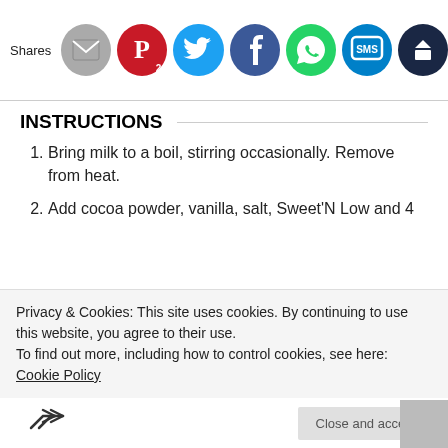[Figure (infographic): Social share bar with icons: email (grey), Pinterest (red, count 2), Twitter (cyan), Facebook (dark blue), WhatsApp (green), SMS (blue), Mailer King (dark blue). Label 'Shares' on the left.]
INSTRUCTIONS
Bring milk to a boil, stirring occasionally. Remove from heat.
Add cocoa powder, vanilla, salt, Sweet'N Low and 4 mini candy canes. Stir to combine thoroughly, and be sure the candy canes are completely melted.
Pour into mugs and garnish each with whipped cream and remaining candy canes.
Sip and enjoy!
Privacy & Cookies: This site uses cookies. By continuing to use this website, you agree to their use.
To find out more, including how to control cookies, see here: Cookie Policy